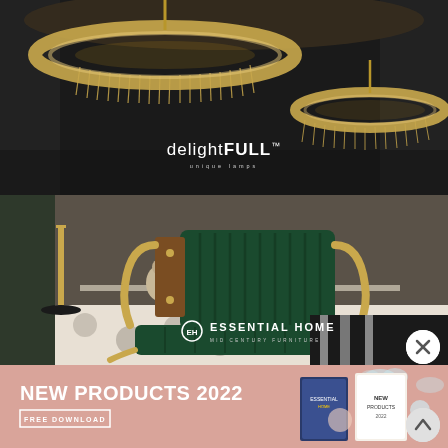[Figure (photo): Luxury gold ring chandeliers hanging from a dark ceiling in an upscale interior setting with dark curtains. delightFULL brand logo visible in center.]
[Figure (photo): Green velvet and gold metal armchair (Essential Home mid-century design) in a modern luxury living room. Essential Home brand logo visible.]
[Figure (infographic): Pink promotional banner with text NEW PRODUCTS 2022 and FREE DOWNLOAD button, with catalog images on the right side.]
NEW PRODUCTS 2022
FREE DOWNLOAD